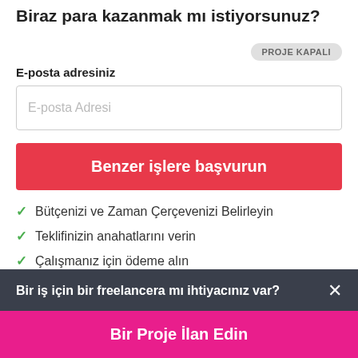Biraz para kazanmak mı istiyorsunuz?
PROJE KAPALI
E-posta adresiniz
E-posta Adresi
Benzer işlere başvurun
Bütçenizi ve Zaman Çerçevenizi Belirleyin
Teklifinizin anahatlarını verin
Çalışmanız için ödeme alın
Bir iş için bir freelancera mı ihtiyacınız var?
Bir Proje İlan Edin